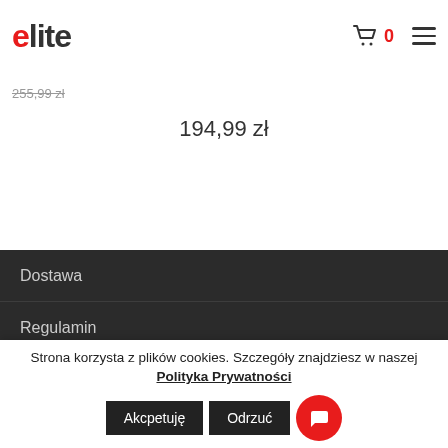elite
255,99 zł
194,99 zł
Dostawa
Regulamin
Polityka Prywatności
Formularz zwrotu
Strona korzysta z plików cookies. Szczegóły znajdziesz w naszej Polityka Prywatności
Akcpetuję
Odrzuć